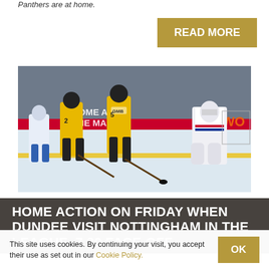Panthers are at home.
READ MORE
[Figure (photo): Ice hockey game action: Nottingham Panthers players in yellow and black jerseys competing against opposing team in white, with goalie in net and rink boards visible in background with partial text 'COME AND THE MA' and 'WO']
HOME ACTION ON FRIDAY WHEN DUNDEE VISIT NOTTINGHAM IN THE LEAGUE, 7.30 FACE-OFF
This site uses cookies. By continuing your visit, you accept their use as set out in our Cookie Policy. OK